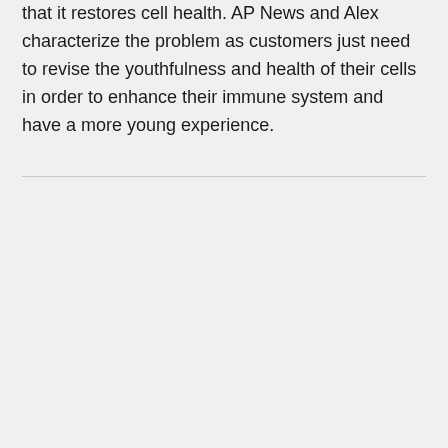that it restores cell health. AP News and Alex characterize the problem as customers just need to revise the youthfulness and health of their cells in order to enhance their immune system and have a more young experience.